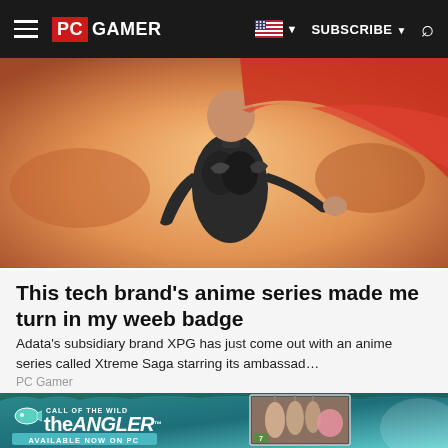PC GAMER | SUBSCRIBE
[Figure (photo): Hero image of an anime-style female character in black armor/bodysuit against a warm orange desert background]
This tech brand's anime series made me turn in my weeb badge
Adata's subsidiary brand XPG has just come out with an anime series called Xtreme Saga starring its ambassad…
PC Gamer
[Figure (illustration): Call of the Wild: the ANGLER advertisement banner — teal/green background with game logo, 'AVAILABLE NOW ON PC' text, and a screenshot of fishing lures]